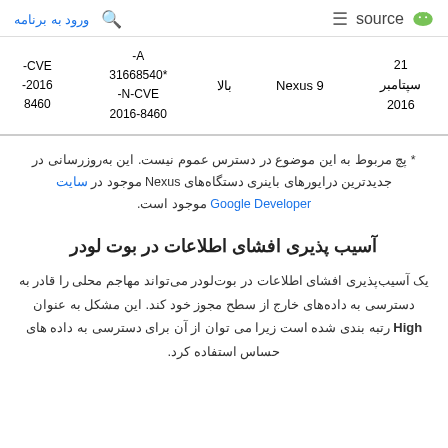ورود به برنامه | source (Android logo)
| تاریخ | دستگاه | شدت | مراجع | CVE |
| --- | --- | --- | --- | --- |
| 21
سپتامبر
2016 | Nexus 9 | بالا | A-*31668540
N-CVE-2016-8460 | CVE-2016-8460 |
* پچ مربوط به این موضوع در دسترس عموم نیست. این به‌روزرسانی در جدیدترین درایورهای باینری دستگاه‌های Nexus موجود در سایت Google Developer موجود است.
آسیب پذیری افشای اطلاعات در بوت لودر
یک آسیب‌پذیری افشای اطلاعات در بوت‌لودر می‌تواند مهاجم محلی را قادر به دسترسی به داده‌های خارج از سطح مجوز خود کند. این مشکل به عنوان High رتبه بندی شده است زیرا می توان از آن برای دسترسی به داده های حساس استفاده کرد.